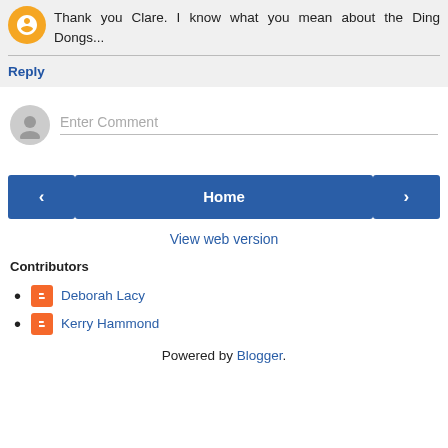Thank you Clare. I know what you mean about the Ding Dongs...
Reply
[Figure (other): Enter Comment input field with generic user avatar]
[Figure (other): Navigation bar with left arrow, Home button, right arrow]
View web version
Contributors
Deborah Lacy
Kerry Hammond
Powered by Blogger.